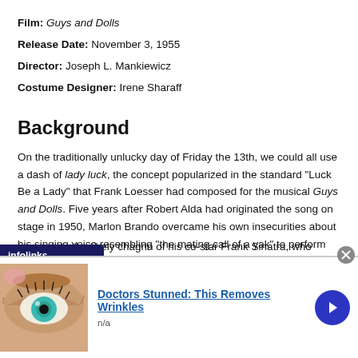Film: Guys and Dolls
Release Date: November 3, 1955
Director: Joseph L. Mankiewicz
Costume Designer: Irene Sharaff
Background
On the traditionally unlucky day of Friday the 13th, we could all use a dash of lady luck, the concept popularized in the standard “Luck Be a Lady” that Frank Loesser had composed for the musical Guys and Dolls. Five years after Robert Alda had originated the song on stage in 1950, Marlon Brando overcame his own insecurities about his singing voice resembling “the mating call of a yak” to perform the song in Mank’s cinematic … much to the likely chagrin of his co-star Frank Sinatra, who
[Figure (screenshot): Infolinks ad bar and overlay advertisement showing 'Doctors Stunned: This Removes Wrinkles' with an eye close-up image and a blue arrow button]